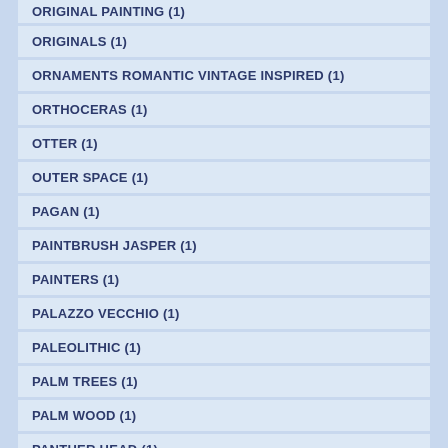ORIGINAL PAINTING (1)
ORIGINALS (1)
ORNAMENTS ROMANTIC VINTAGE INSPIRED (1)
ORTHOCERAS (1)
OTTER (1)
OUTER SPACE (1)
PAGAN (1)
PAINTBRUSH JASPER (1)
PAINTERS (1)
PALAZZO VECCHIO (1)
PALEOLITHIC (1)
PALM TREES (1)
PALM WOOD (1)
PANTHER HEAD (1)
PAPERBACK (1)
PAPERBACK BOOK (1)
PARROTS (1)
PARTY INVITATIONS (1)